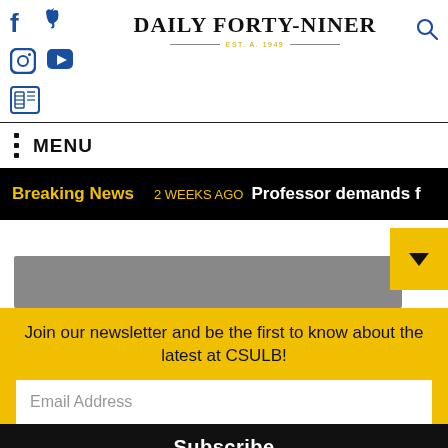DAILY FORTY-NINER
MENU
Breaking News  2 WEEKS AGO  Professor demands f
[Figure (photo): Partial image visible at bottom of content area, gray/olive toned]
Join our newsletter and be the first to know about the latest at CSULB!
Email Address
Subscribe